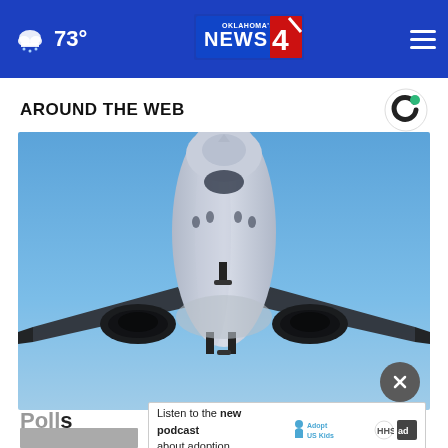73° | Oklahoma's News 4
AROUND THE WEB
[Figure (photo): Front view of a commercial airplane in flight against a clear blue sky, viewed from below and slightly in front, showing the nose, fuselage, wings, and two engines.]
Poll
Listen to the new podcast about adoption.